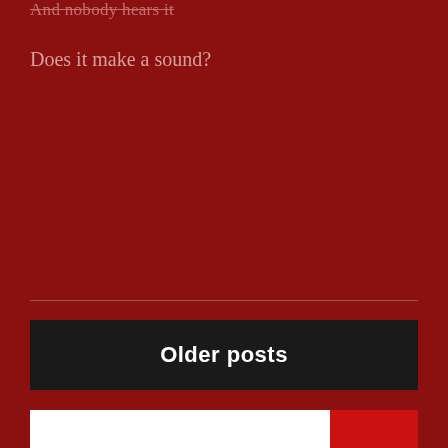And nobody hears it
Does it make a sound?
Older posts